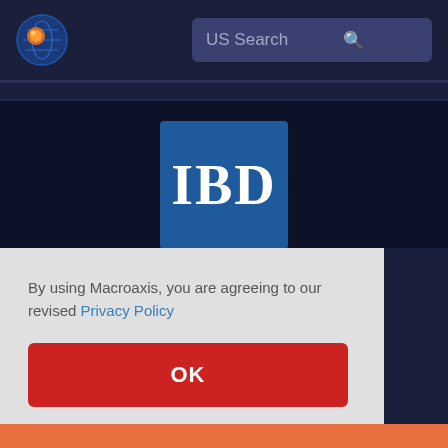[Figure (logo): Macroaxis globe logo with orange and blue circle icon]
US Search
[Figure (logo): IBD logo — white bold serif letters IBD on blue square background]
By using Macroaxis, you are agreeing to our revised Privacy Policy
OK